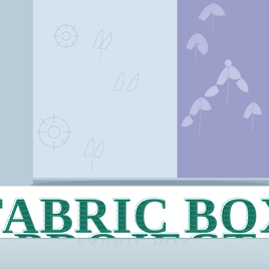[Figure (photo): Close-up photograph of a fabric-covered box. The box has two sides visible meeting at a corner: the left side is covered in light blue/white fabric with a floral/daisy outline pattern, and the right side is covered in lavender/periwinkle fabric with white botanical leaf and flower motifs. The box is sitting on a light blue surface.]
Fabric Box Project